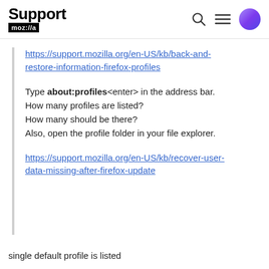Support moz://a
https://support.mozilla.org/en-US/kb/back-and-restore-information-firefox-profiles
Type about:profiles<enter> in the address bar.
How many profiles are listed?
How many should be there?
Also, open the profile folder in your file explorer.
https://support.mozilla.org/en-US/kb/recover-user-data-missing-after-firefox-update
single default profile is listed